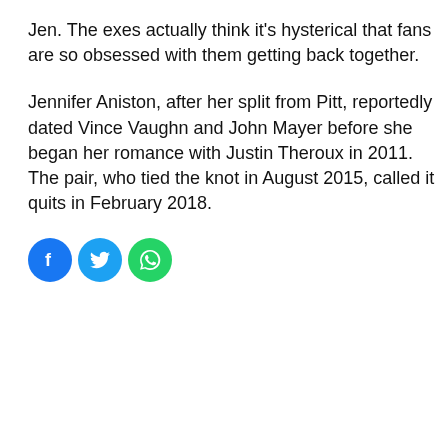Jen. The exes actually think it's hysterical that fans are so obsessed with them getting back together.
Jennifer Aniston, after her split from Pitt, reportedly dated Vince Vaughn and John Mayer before she began her romance with Justin Theroux in 2011. The pair, who tied the knot in August 2015, called it quits in February 2018.
[Figure (other): Social sharing icons: Facebook (blue circle with f), Twitter (blue circle with bird), WhatsApp (green circle with phone)]